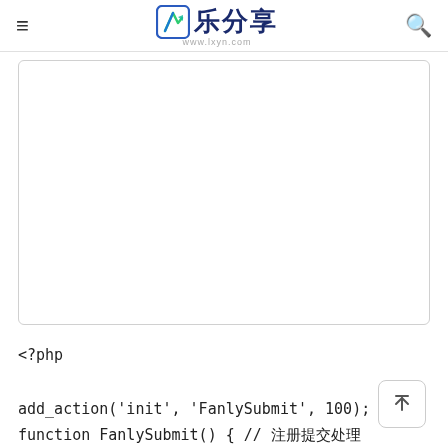≡  乐分享  www.lxyn.com  🔍
[Figure (other): White box with rounded corners and grey border, representing an image or content placeholder area]
<?php

add_action('init', 'FanlySubmit', 100);
function FanlySubmit() { // 注册提交处理
$Fanly = get_option('FanlySubmit');//获取参数
if ( is_array($Fanly['Types']) ) {
foreach($Fanly['Types'] as $type) {